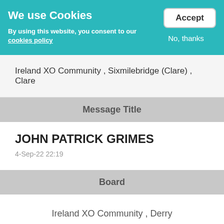We use Cookies
By using this website, you consent to our cookies policy
Accept
No, thanks
Ireland XO Community , Sixmilebridge (Clare) , Clare
Message Title
JOHN PATRICK GRIMES
4-Sep-22 22:19
Board
Ireland XO Community , Derry